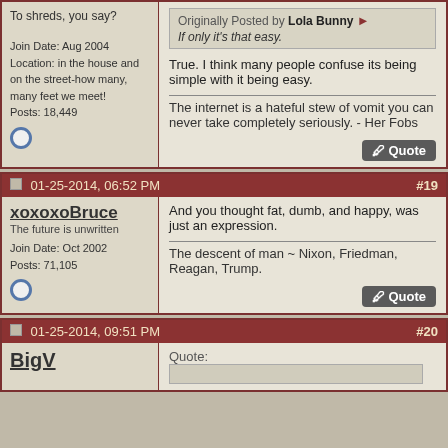To shreds, you say?
Join Date: Aug 2004
Location: in the house and on the street-how many, many feet we meet!
Posts: 18,449
Originally Posted by Lola Bunny
If only it's that easy.

True. I think many people confuse its being simple with it being easy.

The internet is a hateful stew of vomit you can never take completely seriously. - Her Fobs
01-25-2014, 06:52 PM  #19
xoxoxoBruce
The future is unwritten
Join Date: Oct 2002
Posts: 71,105
And you thought fat, dumb, and happy, was just an expression.

The descent of man ~ Nixon, Friedman, Reagan, Trump.
01-25-2014, 09:51 PM  #20
BigV
Quote: